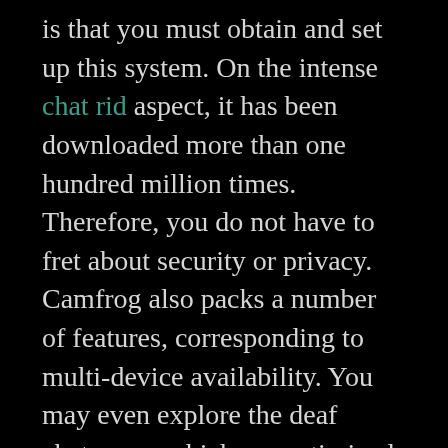is that you must obtain and set up this system. On the intense chat rid aspect, it has been downloaded more than one hundred million times. Therefore, you do not have to fret about security or privacy. Camfrog also packs a number of features, corresponding to multi-device availability. You may even explore the deaf chatrooms which are optimized for individuals with disability.
Azar is out there at no cost on Android and iOS devices. With Azar, you can start a video chat with individuals from everywhere in the world. The app additionally has a premium version that gives extra features, similar to the flexibility to add filters to your video chats. This incredible platform offers users with various options corresponding to filters and results. You can rapidly join with people from totally different components of the world on this app. However, if you don't just like the